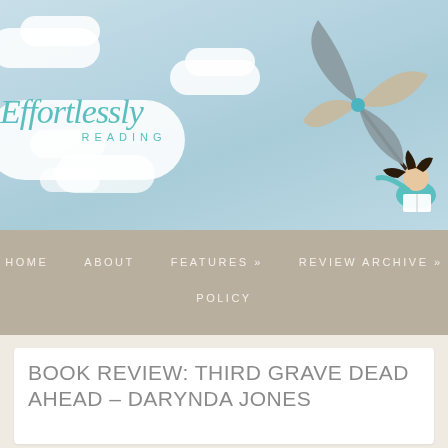[Figure (illustration): Effortlessly Reading blog header banner with light blue watercolor sky background, white clouds, a pinwheel illustration in grey and beige, and a girl with dark flowing hair reading a book while holding the pinwheel stick]
Effortlessly Reading
HOME   ABOUT   FEATURES »   REVIEW ARCHIVE »   POLICY
BOOK REVIEW: THIRD GRAVE DEAD AHEAD – DARYNDA JONES